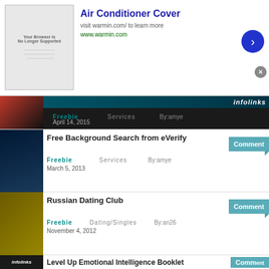[Figure (screenshot): Air Conditioner Cover advertisement banner with thumbnail showing 'Your Browser is No Longer Supported' image, title, description and arrow button]
[Figure (screenshot): Infolinks ad strip with phone lookup image]
[Figure (screenshot): Free Background Search from eVerify listing with man photo]
[Figure (screenshot): Russian Dating Club listing with woman photo]
[Figure (screenshot): Level Up Emotional Intelligence Booklet listing (partially visible) with Frontgate SALES ad overlay]